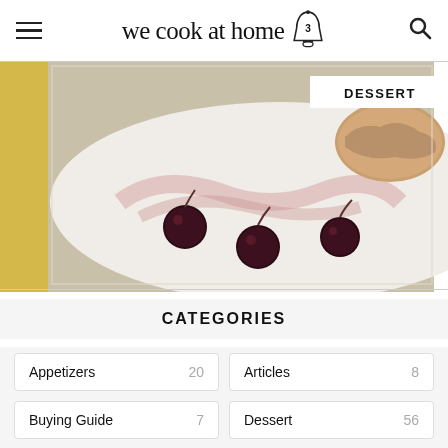we cook at home
[Figure (photo): A white plate with dark cherries and cream dessert with a biscuit/scone, labeled DESSERT]
CATEGORIES
| Category | Count |
| --- | --- |
| Appetizers | 20 |
| Articles | 8 |
| Buying Guide | 7 |
| Dessert | 56 |